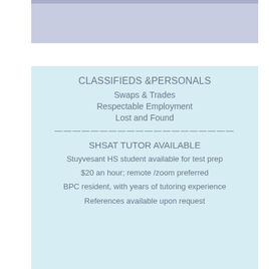[Figure (photo): Partial photo at top of page with lavender/grey toned image, mostly obscured]
CLASSIFIEDS &PERSONALS
Swaps & Trades
Respectable Employment
Lost and Found
SHSAT TUTOR AVAILABLE
Stuyvesant HS student available for test prep
$20 an hour; remote /zoom preferred
BPC resident, with years of tutoring experience
References available upon request